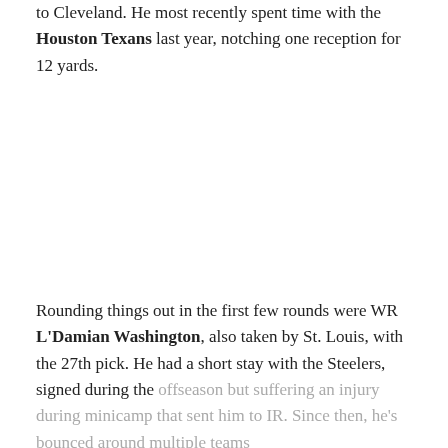to Cleveland. He most recently spent time with the Houston Texans last year, notching one reception for 12 yards.
Rounding things out in the first few rounds were WR L'Damian Washington, also taken by St. Louis, with the 27th pick. He had a short stay with the Steelers, signed during the offseason but suffering an injury during minicamp that sent him to IR. Since then, he's bounced around multiple teams